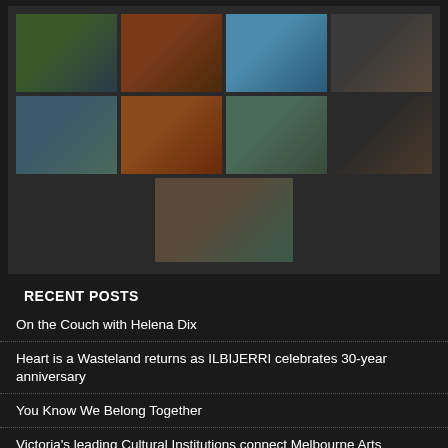[Figure (photo): Grid of 9 photos showing various theatrical/artistic performers and venues on dark background]
RECENT POSTS
On the Couch with Helena Dix
Heart is a Wasteland returns as ILBIJERRI celebrates 30-year anniversary
You Know We Belong Together
Victoria's leading Cultural Institutions connect Melbourne Arts